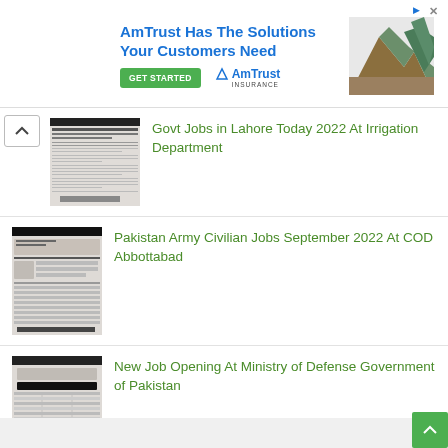[Figure (screenshot): AmTrust Insurance advertisement banner with headline 'AmTrust Has The Solutions Your Customers Need', a green GET STARTED button, AmTrust Insurance logo, and a mountain/map graphic.]
[Figure (screenshot): Thumbnail of a government job advertisement document in Urdu script for Govt Jobs in Lahore Today 2022 at Irrigation Department]
Govt Jobs in Lahore Today 2022 At Irrigation Department
[Figure (screenshot): Thumbnail of a government job advertisement document in Urdu script for Pakistan Army Civilian Jobs September 2022 At COD Abbottabad]
Pakistan Army Civilian Jobs September 2022 At COD Abbottabad
[Figure (screenshot): Thumbnail of a government job advertisement document for New Job Opening At Ministry of Defense Government of Pakistan]
New Job Opening At Ministry of Defense Government of Pakistan